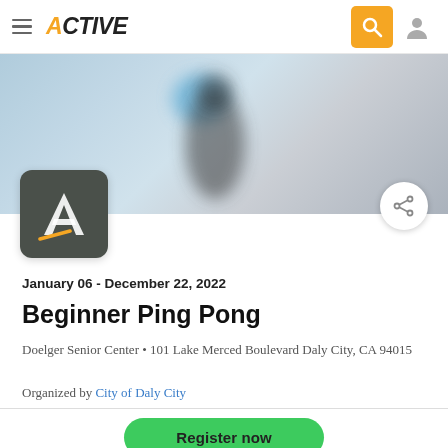ACTIVE
[Figure (photo): Blurred hero banner image showing a person playing ping pong with a blue ball visible, light grey-blue background]
[Figure (logo): Active.com logo icon: dark grey rounded square with white italic A and orange underline accent]
January 06 - December 22, 2022
Beginner Ping Pong
Doelger Senior Center • 101 Lake Merced Boulevard Daly City, CA 94015
Organized by City of Daly City
Register now